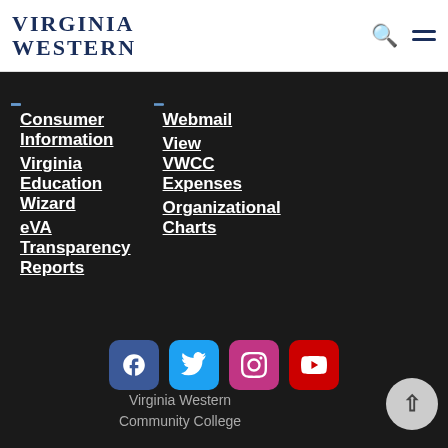Virginia Western
Consumer Information
Virginia Education Wizard
eVA Transparency Reports
Webmail
View VWCC Expenses
Organizational Charts
[Figure (logo): Social media icons: Facebook, Twitter, Instagram, YouTube]
Virginia Western Community College